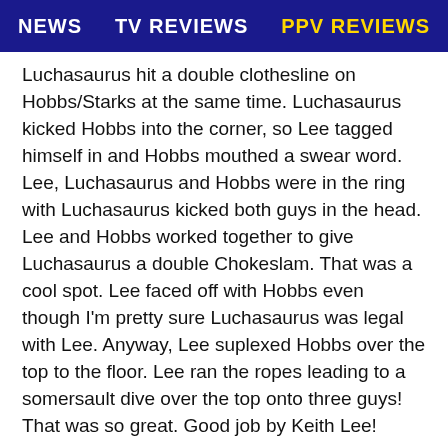NEWS   TV REVIEWS   PPV REVIEWS
Luchasaurus hit a double clothesline on Hobbs/Starks at the same time. Luchasaurus kicked Hobbs into the corner, so Lee tagged himself in and Hobbs mouthed a swear word. Lee, Luchasaurus and Hobbs were in the ring with Luchasaurus kicked both guys in the head. Lee and Hobbs worked together to give Luchasaurus a double Chokeslam. That was a cool spot. Lee faced off with Hobbs even though I'm pretty sure Luchasaurus was legal with Lee. Anyway, Lee suplexed Hobbs over the top to the floor. Lee ran the ropes leading to a somersault dive over the top onto three guys! That was so great. Good job by Keith Lee!
Lee sent Luchasaurus back into the ring. Lee with a back elbow, Luchasaurus with a headbutt and Luchasaurus hit a sloppy slam for a one count,